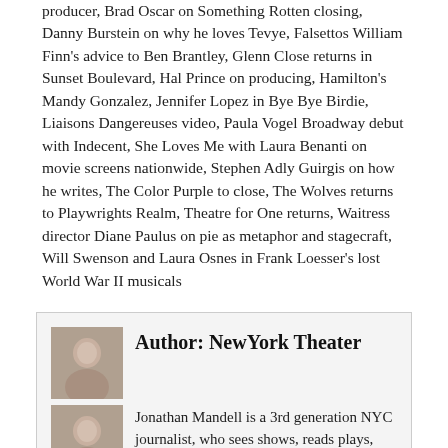producer, Brad Oscar on Something Rotten closing, Danny Burstein on why he loves Tevye, Falsettos William Finn's advice to Ben Brantley, Glenn Close returns in Sunset Boulevard, Hal Prince on producing, Hamilton's Mandy Gonzalez, Jennifer Lopez in Bye Bye Birdie, Liaisons Dangereuses video, Paula Vogel Broadway debut with Indecent, She Loves Me with Laura Benanti on movie screens nationwide, Stephen Adly Guirgis on how he writes, The Color Purple to close, The Wolves returns to Playwrights Realm, Theatre for One returns, Waitress director Diane Paulus on pie as metaphor and stagecraft, Will Swenson and Laura Osnes in Frank Loesser's lost World War II musicals
Author: NewYork Theater
Jonathan Mandell is a 3rd generation NYC journalist, who sees shows, reads plays, writes reviews and sometimes talks with people.
[Figure (photo): Author photo 1 - headshot of a person]
[Figure (photo): Author photo 2 - headshot of a person]